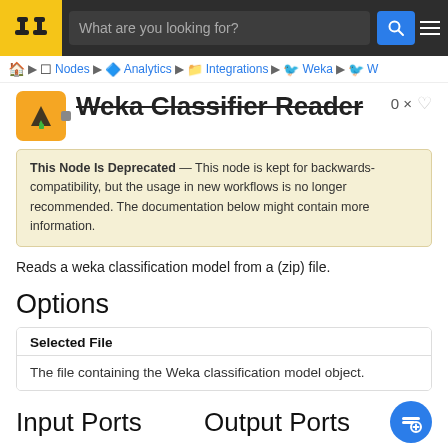What are you looking for?
Nodes ▶ Analytics ▶ Integrations ▶ Weka ▶ W
Weka Classifier Reader
This Node Is Deprecated — This node is kept for backwards-compatibility, but the usage in new workflows is no longer recommended. The documentation below might contain more information.
Reads a weka classification model from a (zip) file.
Options
| Selected File |
| --- |
| The file containing the Weka classification model object. |
Input Ports
Output Ports